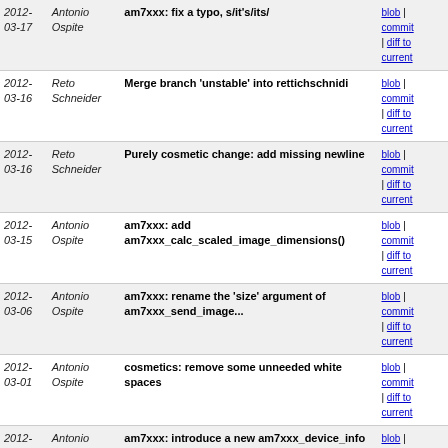| Date | Author | Commit Message | Links |
| --- | --- | --- | --- |
| 2012-
03-17 | Antonio
Ospite | am7xxx: fix a typo, s/it's/its/ | blob | commit | diff to current |
| 2012-
03-16 | Reto
Schneider | Merge branch 'unstable' into rettichschnidi | blob | commit | diff to current |
| 2012-
03-16 | Reto
Schneider | Purely cosmetic change: add missing newline | blob | commit | diff to current |
| 2012-
03-15 | Antonio
Ospite | am7xxx: add am7xxx_calc_scaled_image_dimensions() | blob | commit | diff to current |
| 2012-
03-06 | Antonio
Ospite | am7xxx: rename the 'size' argument of am7xxx_send_image... | blob | commit | diff to current |
| 2012-
03-01 | Antonio
Ospite | cosmetics: remove some unneeded white spaces | blob | commit | diff to current |
| 2012-
03-01 | Antonio
Ospite | am7xxx: introduce a new am7xxx_device_info type | blob | commit | diff to current |
| 2012-
02-29 | Antonio
Ospite | am7xxx: use the logging infrastructure | blob | commit | diff to current |
| 2012-
02-29 | Antonio
Ospite | am7xxx: add a simple logging infrastructure | blob | commit | diff to current |
| 2012-
02-29 | Antonio
Ospite | am7xxx: track the context in am7xxx_device | blob | commit | diff to current |
| 2012-
... | Antonio
... | am7xxx: ... | blob |... |